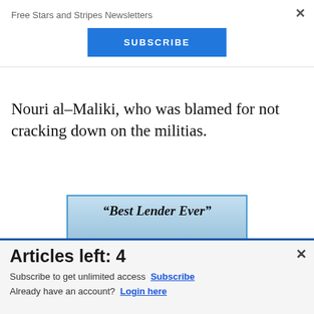Free Stars and Stripes Newsletters
SUBSCRIBE
Nouri al&#8211;Maliki, who was blamed for not cracking down on the militias.
[Figure (screenshot): Partial ad banner showing text 'Best Lender Ever' in italic serif font]
[Figure (screenshot): Commissary Click2GO advertisement with logo, green ball, commissary badge, and 'order groceries' text]
Articles left: 4
Subscribe to get unlimited access  Subscribe
Already have an account?  Login here